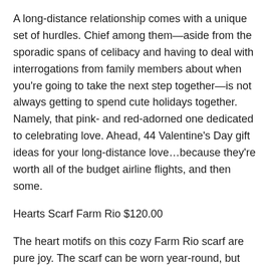A long-distance relationship comes with a unique set of hurdles. Chief among them—aside from the sporadic spans of celibacy and having to deal with interrogations from family members about when you're going to take the next step together—is not always getting to spend cute holidays together. Namely, that pink- and red-adorned one dedicated to celebrating love. Ahead, 44 Valentine's Day gift ideas for your long-distance love…because they're worth all of the budget airline flights, and then some.
Hearts Scarf Farm Rio $120.00
The heart motifs on this cozy Farm Rio scarf are pure joy. The scarf can be worn year-round, but gifting this on Valentine's Day is particularly apt.
SUPPORT SMALL BUSINESS Shop in Shopboard A...